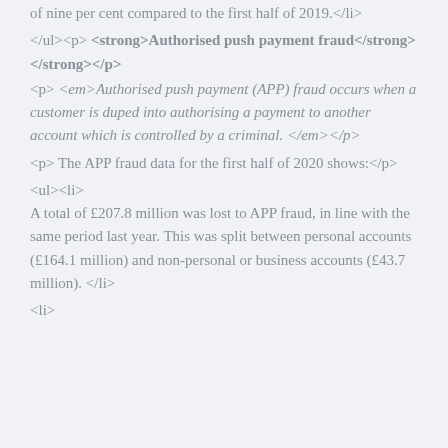of nine per cent compared to the first half of 2019.</li>
Authorised push payment fraud
Authorised push payment (APP) fraud occurs when a customer is duped into authorising a payment to another account which is controlled by a criminal.
The APP fraud data for the first half of 2020 shows:
A total of £207.8 million was lost to APP fraud, in line with the same period last year. This was split between personal accounts (£164.1 million) and non-personal or business accounts (£43.7 million).
<li>